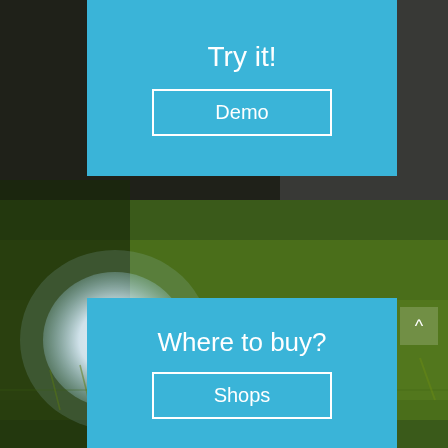[Figure (photo): Background photo of a glowing white spherical lamp sitting on green grass at night, with a stone wall visible in the background]
Try it!
Demo
Where to buy?
Shops